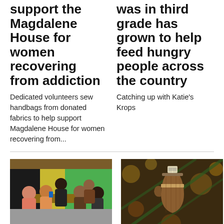support the Magdalene House for women recovering from addiction
Dedicated volunteers sew handbags from donated fabrics to help support Magdalene House for women recovering from...
was in third grade has grown to help feed hungry people across the country
Catching up with Katie's Krops
[Figure (photo): Group of people sitting around a table in a meeting or class setting, colorful yellow and green walls in background]
January 2022
Lowcountry Local First's Community Business Academy
[Figure (photo): Close-up of a wooden ornament hanging on a Christmas tree with a tag attached]
December 2021
Memories of loved ones live on at the Festival of Trees, which benefits